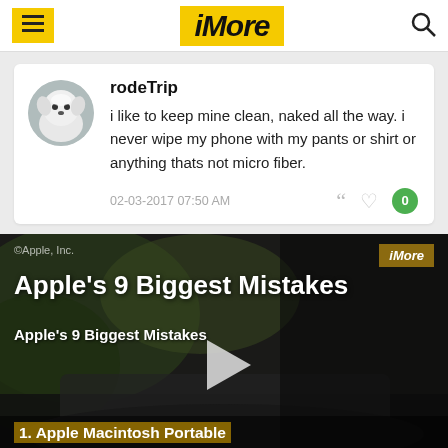iMore
rodeTrip
i like to keep mine clean, naked all the way. i never wipe my phone with my pants or shirt or anything thats not micro fiber.
02-03-2017 07:50 AM
[Figure (screenshot): Video thumbnail for 'Apple's 9 Biggest Mistakes' with play button, iMore badge, and slide caption '1. Apple Macintosh Portable - Apple's first battery-powered computer was the Apple Macintosh Portable.']